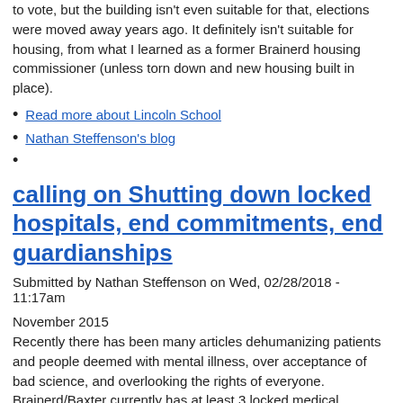to vote, but the building isn't even suitable for that, elections were moved away years ago. It definitely isn't suitable for housing, from what I learned as a former Brainerd housing commissioner (unless torn down and new housing built in place).
Read more about Lincoln School
Nathan Steffenson's blog
calling on Shutting down locked hospitals, end commitments, end guardianships
Submitted by Nathan Steffenson on Wed, 02/28/2018 - 11:17am
November 2015
Recently there has been many articles dehumanizing patients and people deemed with mental illness, over acceptance of bad science, and overlooking the rights of everyone.
Brainerd/Baxter currently has at least 3 locked medical facilities. One on state ave in Brainerd and one in Baxter on Grand Oaks run by the State of Minnesota.
The other is at Essentia Health St Joseph's Medical Center in Brainerd.